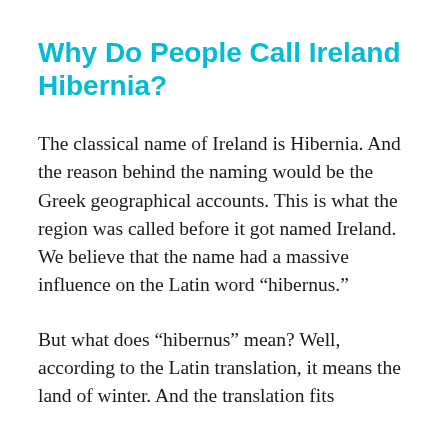Why Do People Call Ireland Hibernia?
The classical name of Ireland is Hibernia. And the reason behind the naming would be the Greek geographical accounts. This is what the region was called before it got named Ireland. We believe that the name had a massive influence on the Latin word “hibernus.”
But what does “hibernus” mean? Well, according to the Latin translation, it means the land of winter. And the translation fits